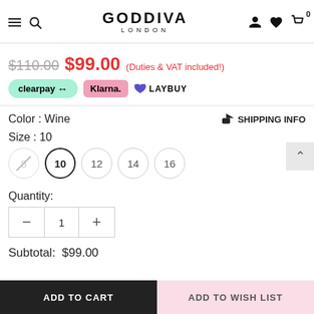GODDIVA LONDON
$110.00 $99.00 (Duties & VAT included!)
[Figure (logo): Payment method logos: Clearpay, Klarna, Laybuy]
Color : Wine
SHIPPING INFO
Size : 10
Size options: 8 (unavailable), 10 (selected), 12, 14, 16
Quantity:
Quantity control: minus, 1, plus
Subtotal: $99.00
ADD TO CART
ADD TO WISH LIST